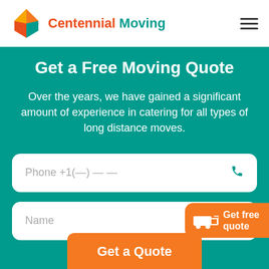[Figure (logo): Centennial Moving logo with colorful kite/diamond icon and company name]
Get a Free Moving Quote
Over the years, we have gained a significant amount of experience in catering for all types of long distance moves.
Phone +1(—) — —
Name
Get a Quote
Get free quote